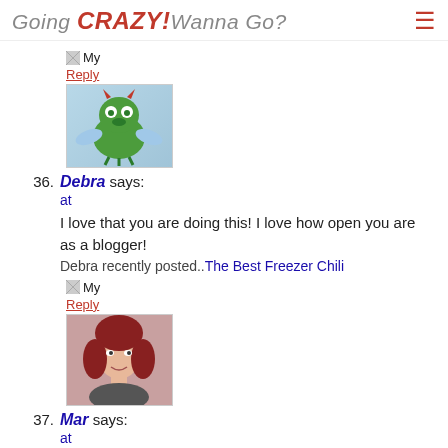Going CRAZY! Wanna Go?
[Figure (illustration): Small broken image icon followed by 'My Reply' link in orange-red, with a green cartoon monster avatar image below]
36. Debra says: at
I love that you are doing this! I love how open you are as a blogger!
Debra recently posted.. The Best Freezer Chili
[Figure (illustration): Small broken image icon followed by 'My Reply' link in orange-red, with a photo of a young woman with red hair below]
37. Mar says: at
I'm thankful for making it to another birthday 🙂 I keep a thankfulness journal all year round and it definitely helps when things seem a bit down!